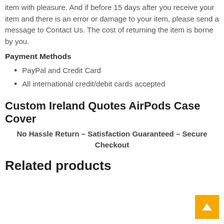item with pleasure. And if before 15 days after you receive your item and there is an error or damage to your item, please send a message to Contact Us. The cost of returning the item is borne by you.
Payment Methods
PayPal and Credit Card
All international credit/debit cards accepted
Custom Ireland Quotes AirPods Case Cover
No Hassle Return – Satisfaction Guaranteed – Secure Checkout
Related products